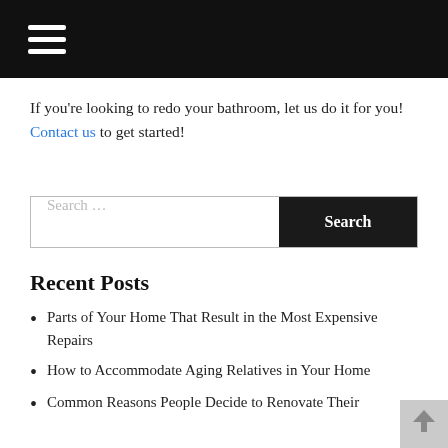☰ (hamburger menu icon)
If you're looking to redo your bathroom, let us do it for you! Contact us to get started!
Search …
Recent Posts
Parts of Your Home That Result in the Most Expensive Repairs
How to Accommodate Aging Relatives in Your Home
Common Reasons People Decide to Renovate Their Home